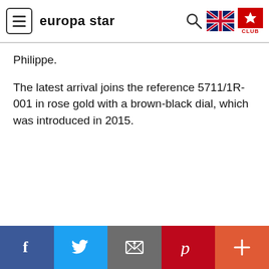europa star
Philippe.
The latest arrival joins the reference 5711/1R-001 in rose gold with a brown-black dial, which was introduced in 2015.
Social share bar: Facebook, Twitter, Email, Pinterest, More